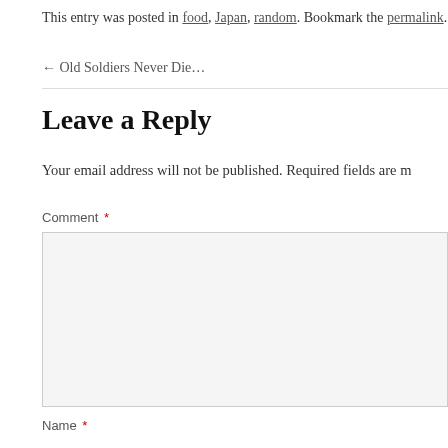This entry was posted in food, Japan, random. Bookmark the permalink.
← Old Soldiers Never Die…
Leave a Reply
Your email address will not be published. Required fields are m
Comment *
Name *